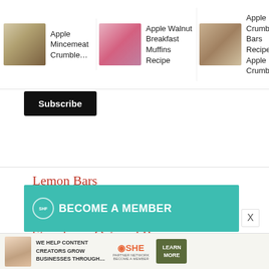[Figure (photo): Apple Mincemeat Crumble recipe image thumbnail]
Apple Mincemeat Crumble...
[Figure (photo): Apple Walnut Breakfast Muffins Recipe image thumbnail]
Apple Walnut Breakfast Muffins Recipe
[Figure (photo): Apple Crumble Bars recipe image thumbnail]
Apple Crumble Bars Recipe Apple Crumble...
Subscribe
Lemon Bars
Semolina Bars
Chocolate Shortbread
Strawberry Oatmeal Bars
Peanut Butter chocolate chip energy bars
Leftover Cakebars
[Figure (screenshot): SHE media become a member teal advertisement banner]
[Figure (screenshot): SHE partner network bottom advertisement banner with person and learn more button]